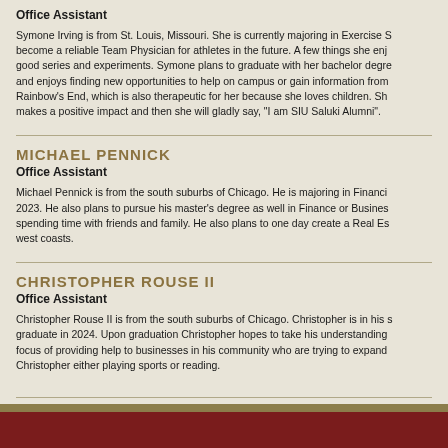Office Assistant
Symone Irving is from St. Louis, Missouri. She is currently majoring in Exercise S... become a reliable Team Physician for athletes in the future. A few things she enj... good series and experiments. Symone plans to graduate with her bachelor degre... and enjoys finding new opportunities to help on campus or gain information from... Rainbow's End, which is also therapeutic for her because she loves children. Sh... makes a positive impact and then she will gladly say, "I am SIU Saluki Alumni".
MICHAEL PENNICK
Office Assistant
Michael Pennick is from the south suburbs of Chicago. He is majoring in Financi... 2023. He also plans to pursue his master's degree as well in Finance or Busines... spending time with friends and family. He also plans to one day create a Real Es... west coasts.
CHRISTOPHER ROUSE II
Office Assistant
Christopher Rouse II is from the south suburbs of Chicago. Christopher is in his s... graduate in 2024. Upon graduation Christopher hopes to take his understanding... focus of providing help to businesses in his community who are trying to expand... Christopher either playing sports or reading.